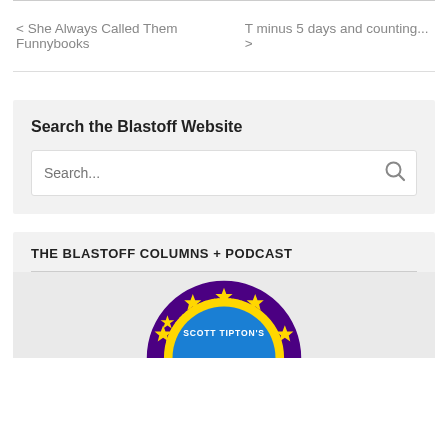< She Always Called Them Funnybooks    T minus 5 days and counting... >
Search the Blastoff Website
Search...
THE BLASTOFF COLUMNS + PODCAST
[Figure (logo): Scott Tipton's Blastoff circular badge logo with text 'E COMICUS UNUM' and star design in yellow, purple and blue]